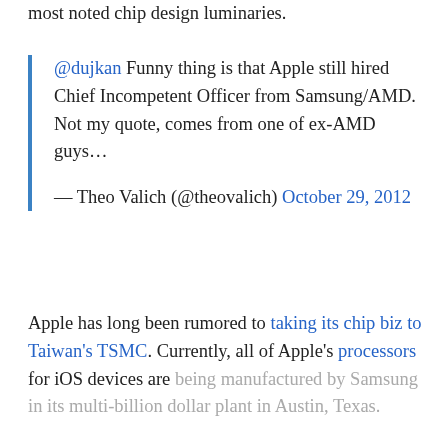most noted chip design luminaries.
@dujkan Funny thing is that Apple still hired Chief Incompetent Officer from Samsung/AMD. Not my quote, comes from one of ex-AMD guys… — Theo Valich (@theovalich) October 29, 2012
Apple has long been rumored to taking its chip biz to Taiwan's TSMC. Currently, all of Apple's processors for iOS devices are being manufactured by Samsung in its multi-billion dollar plant in Austin, Texas.